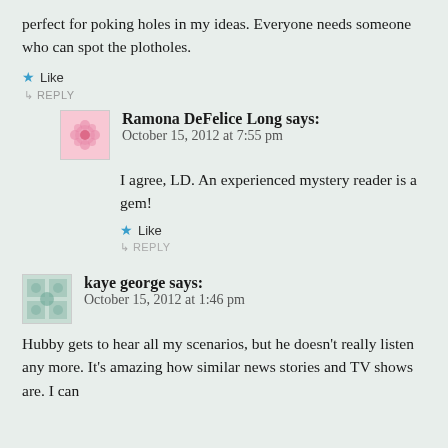perfect for poking holes in my ideas. Everyone needs someone who can spot the plotholes.
Like
↳ REPLY
Ramona DeFelice Long says:
October 15, 2012 at 7:55 pm
I agree, LD. An experienced mystery reader is a gem!
Like
↳ REPLY
kaye george says:
October 15, 2012 at 1:46 pm
Hubby gets to hear all my scenarios, but he doesn't really listen any more. It's amazing how similar news stories and TV shows are. I can